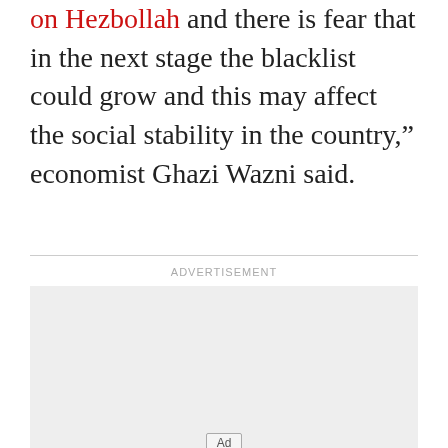on Hezbollah and there is fear that in the next stage the blacklist could grow and this may affect the social stability in the country," economist Ghazi Wazni said.
[Figure (other): Advertisement placeholder box with 'Ad' badge at the bottom center, labeled 'ADVERTISEMENT' above a horizontal rule.]